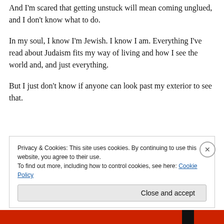And I'm scared that getting unstuck will mean coming unglued, and I don't know what to do.
In my soul, I know I'm Jewish. I know I am. Everything I've read about Judaism fits my way of living and how I see the world and, and just everything.
But I just don't know if anyone can look past my exterior to see that.
Privacy & Cookies: This site uses cookies. By continuing to use this website, you agree to their use.
To find out more, including how to control cookies, see here: Cookie Policy
Close and accept